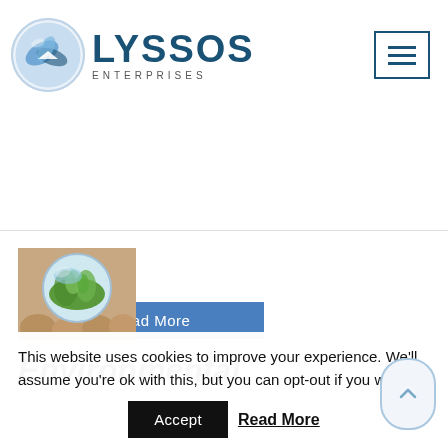[Figure (logo): Lyssos Enterprises logo with globe/swirl icon and company name]
[Figure (other): Hamburger menu icon button in top right corner]
Read More
[Figure (photo): Hands holding a glass sphere filled with green plants/algae]
Environmental
This website uses cookies to improve your experience. We'll assume you're ok with this, but you can opt-out if you wish.
Accept
Read More